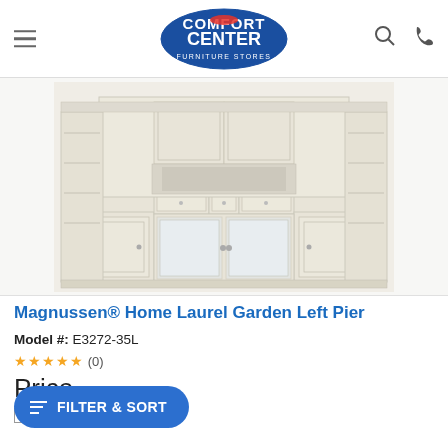Comfort Center Furniture Stores
[Figure (photo): Large white entertainment center unit — Magnussen Home Laurel Garden collection — with open shelving, drawers, cabinets, and glass-front doors]
Magnussen® Home Laurel Garden Left Pier
Model #: E3272-35L
(0)
Price
COMPARE